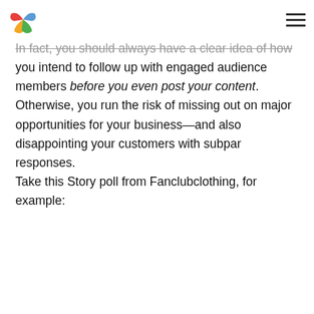[logo] [hamburger menu]
In fact, you should always have a clear idea of how you intend to follow up with engaged audience members before you even post your content. Otherwise, you run the risk of missing out on major opportunities for your business—and also disappointing your customers with subpar responses.

Take this Story poll from Fanclubclothing, for example: